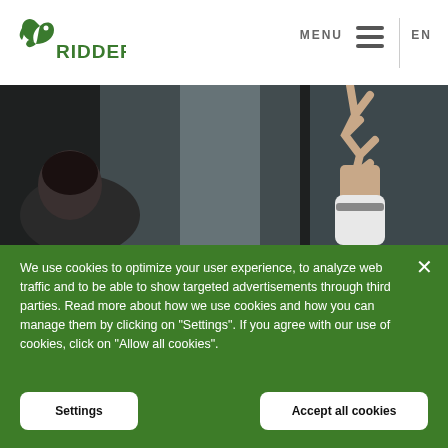[Figure (logo): Ridder company logo - green stylized bird/leaf icon with RIDDER text]
MENU  EN
[Figure (photo): Person wearing white reaching upward with hand against a large reflective surface in a dark environment]
We use cookies to optimize your user experience, to analyze web traffic and to be able to show targeted advertisements through third parties. Read more about how we use cookies and how you can manage them by clicking on "Settings". If you agree with our use of cookies, click on "Allow all cookies".
Settings
Accept all cookies